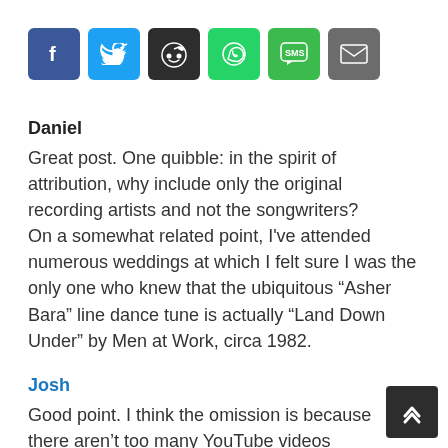[Figure (infographic): Social share buttons: Facebook (blue), Twitter (light blue), Reddit (dark grey), WhatsApp (green), SMS (green), Email (grey)]
Daniel
Great post. One quibble: in the spirit of attribution, why include only the original recording artists and not the songwriters?
On a somewhat related point, I've attended numerous weddings at which I felt sure I was the only one who knew that the ubiquitous “Asher Bara” line dance tune is actually “Land Down Under” by Men at Work, circa 1982.
Josh
Good point. I think the omission is because there aren’t too many YouTube videos featuring